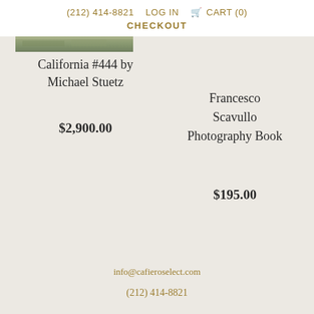(212) 414-8821  LOG IN  🛒 CART (0)  CHECKOUT
[Figure (photo): Partial view of a photography book cover with an outdoor landscape scene]
California #444 by Michael Stuetz
$2,900.00
Francesco Scavullo Photography Book
$195.00
info@cafieroselect.com  (212) 414-8821